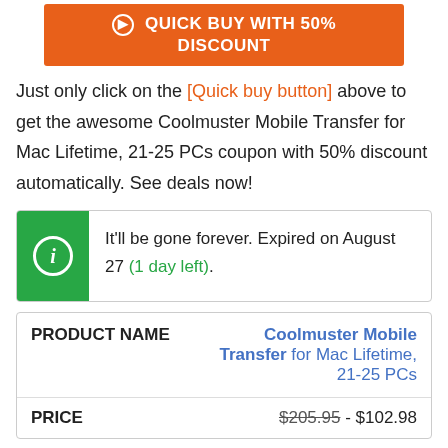[Figure (other): Orange 'Quick Buy with 50% Discount' button with circle arrow icon]
Just only click on the [Quick buy button] above to get the awesome Coolmuster Mobile Transfer for Mac Lifetime, 21-25 PCs coupon with 50% discount automatically. See deals now!
It'll be gone forever. Expired on August 27 (1 day left).
| PRODUCT NAME | Coolmuster Mobile Transfer for Mac Lifetime, 21-25 PCs |
| --- | --- |
| PRICE | $205.95 - $102.98 |